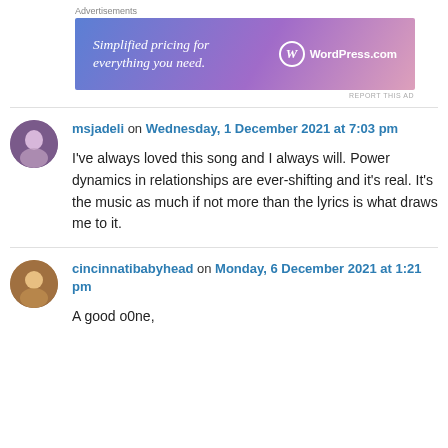[Figure (illustration): WordPress.com advertisement banner with text 'Simplified pricing for everything you need.' and WordPress.com logo on a blue-to-pink gradient background.]
msjadeli on Wednesday, 1 December 2021 at 7:03 pm
I've always loved this song and I always will. Power dynamics in relationships are ever-shifting and it's real. It's the music as much if not more than the lyrics is what draws me to it.
cincinnatibabyhead on Monday, 6 December 2021 at 1:21 pm
A good o0ne,